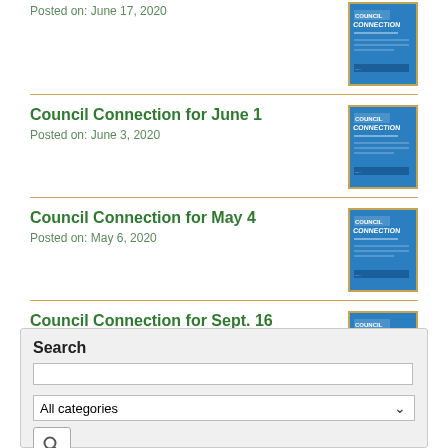Posted on: June 17, 2020
[Figure (illustration): Council Connection newsletter cover thumbnail - blue background]
Council Connection for June 1
Posted on: June 3, 2020
[Figure (illustration): Council Connection newsletter cover thumbnail - blue background]
Council Connection for May 4
Posted on: May 6, 2020
[Figure (illustration): Council Connection newsletter cover thumbnail - blue background]
Council Connection for Sept. 16
Posted on: September 18, 2019
[Figure (illustration): Council Connection newsletter cover thumbnail - blue background]
Search
All categories